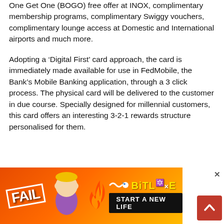One Get One (BOGO) free offer at INOX, complimentary membership programs, complimentary Swiggy vouchers, complimentary lounge access at Domestic and International airports and much more.
Adopting a ‘Digital First’ card approach, the card is immediately made available for use in FedMobile, the Bank’s Mobile Banking application, through a 3 click process. The physical card will be delivered to the customer in due course. Specially designed for millennial customers, this card offers an interesting 3-2-1 rewards structure personalised for them.
[Figure (screenshot): Advertisement banner for BitLife game with red/orange fiery background, 'FAIL' text, cartoon character, BitLife logo, and 'START A NEW LIFE' text]